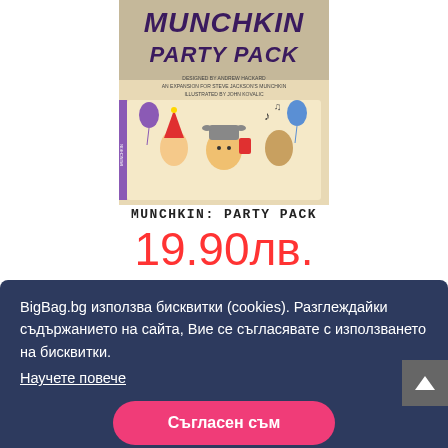[Figure (photo): Book cover of Munchkin: Party Pack — top portion shows stylized fantasy comic art with cartoon characters at a party, balloon decorations, a Viking-helmeted character in the center. The cover title reads MUNCHKIN PARTY PACK with credits for Andrew Hackard and Steve Jackson's Munchkin, illustrated by John Kovalic.]
MUNCHKIN: PARTY PACK
19.90лв.
BigBag.bg използва бисквитки (cookies). Разглеждайки съдържанието на сайта, Вие се съгласявате с използването на бисквитки.
Научете повече
Съгласен съм